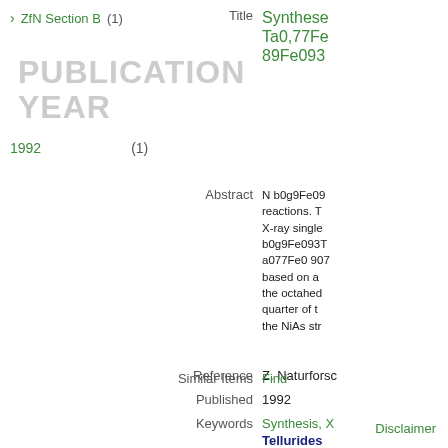> ZfN Section B (1)
PUBLICATION YEAR
1992 (1)
Title  Synthese... Ta0,77Fe... 89Fe093...
Abstract  N b0g9Fe09... reactions. T... X-ray single... b0g9Fe093T... a077Fe0 907... based on a... the octahed... quarter of t... the NiAs str...
Reference  Z. Naturforsc...
Published  1992
Keywords  Synthesis, X... Tellurides
Similar Items  Find
Disclaimer